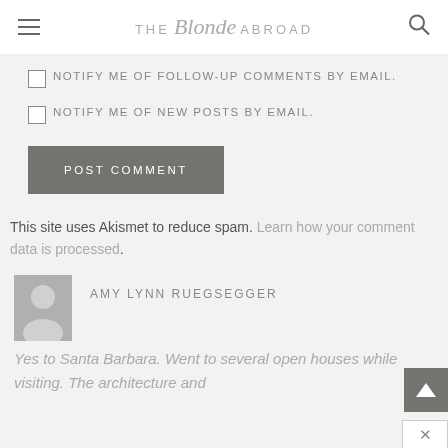THE Blonde ABROAD
NOTIFY ME OF FOLLOW-UP COMMENTS BY EMAIL.
NOTIFY ME OF NEW POSTS BY EMAIL.
POST COMMENT
This site uses Akismet to reduce spam. Learn how your comment data is processed.
AMY LYNN RUEGSEGGER
Yes to Santa Barbara. Went to several open houses while visiting. The architecture and